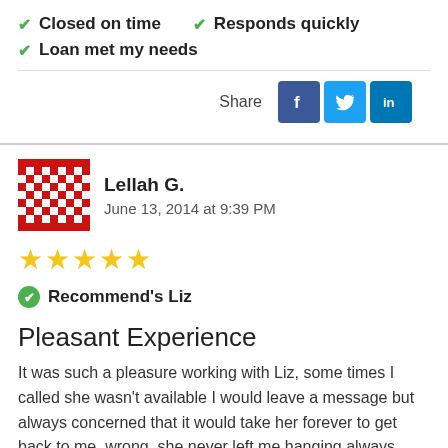✔ Closed on time   ✔ Responds quickly
✔ Loan met my needs
Share
Lellah G.
June 13, 2014 at 9:39 PM
★★★★★
Recommend's Liz
Pleasant Experience
It was such a pleasure working with Liz, some times I called she wasn't available I would leave a message but always concerned that it would take her forever to get back to me, wrong, she never left me hanging always returned my call